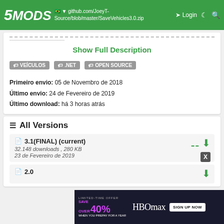5MODS — https://github.com/JoeyT-Source/blob/master/SaveVehicles3.0.zip — Login
Show Full Description
VEÍCULOS
.NET
OPEN SOURCE
Primeiro envio: 05 de Novembro de 2018
Último envio: 24 de Fevereiro de 2019
Último download: há 3 horas atrás
All Versions
3.1(FINAL) (current)
32.148 downloads , 280 KB
23 de Fevereiro de 2019
[Figure (screenshot): HBO Max advertisement banner: Limited-time offer Save Over 40% when you prepay for a year, with Sign Up Now button]